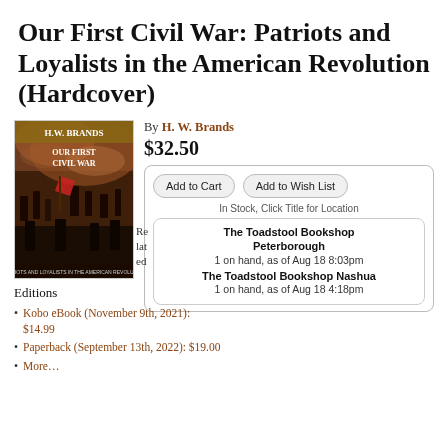Our First Civil War: Patriots and Loyalists in the American Revolution (Hardcover)
[Figure (illustration): Book cover of 'Our First Civil War' by H.W. Brands, showing a Civil War battle scene painting with soldiers fighting, in reddish and dark tones. Title text 'H.W. BRANDS OUR FIRST CIVIL WAR' shown on the cover.]
By H. W. Brands
$32.50
Add to Cart
Add to Wish List
In Stock, Click Title for Location
The Toadstool Bookshop Peterborough
1 on hand, as of Aug 18 8:03pm
The Toadstool Bookshop Nashua
1 on hand, as of Aug 18 4:18pm
Related lat ed Editions
Kobo eBook (November 9th, 2021): $14.99
Paperback (September 13th, 2022): $19.00
More…